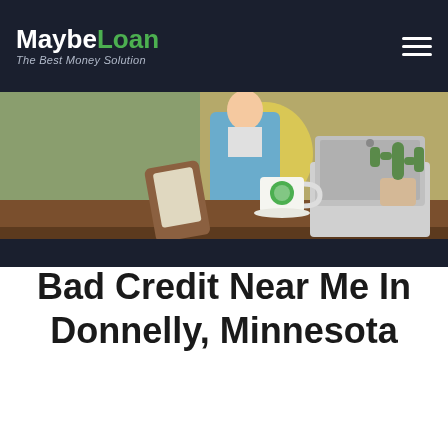MaybeLoan – The Best Money Solution
[Figure (illustration): Illustrated desk scene with a laptop, coffee cup with logo, tablet/phone, and cactus plant. A person in a blue jacket is visible behind the desk against a green-yellow background.]
Bad Credit Near Me In Donnelly, Minnesota